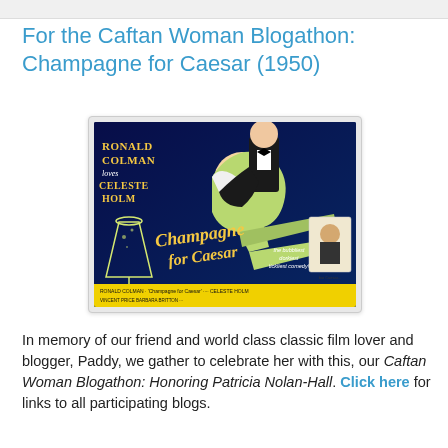For the Caftan Woman Blogathon: Champagne for Caesar (1950)
[Figure (photo): Movie poster for 'Champagne for Caesar' (1950) featuring Ronald Colman and Celeste Holm. Shows a man in a tuxedo carrying a woman in a green dress, with the film title in large cursive script. Credits at the bottom list Ronald Colman, Celeste Holm, Vincent Price, Barbara Britton.]
In memory of our friend and world class classic film lover and blogger, Paddy, we gather to celebrate her with this, our Caftan Woman Blogathon: Honoring Patricia Nolan-Hall. Click here for links to all participating blogs.